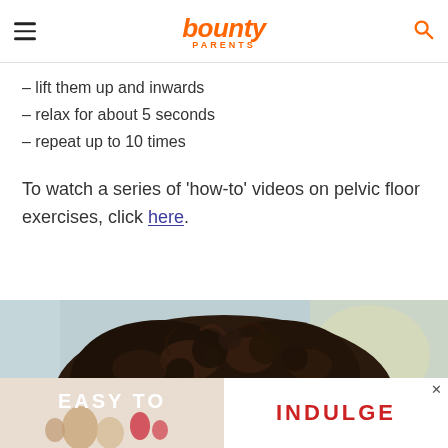bounty PARENTS
– lift them up and inwards
– relax for about 5 seconds
– repeat up to 10 times
To watch a series of 'how-to' videos on pelvic floor exercises, click here.
[Figure (photo): Photo of a person with curly dark hair, head bowed, in a room with light-colored walls]
[Figure (advertisement): Ad banner reading EASY TO INDULGE with a close button, product imagery on left, text on right]